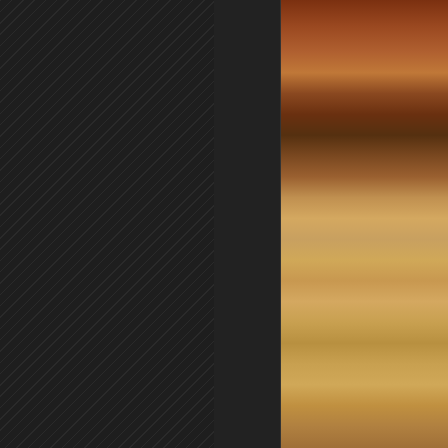[Figure (photo): Miniature figurines of locals with animals (possibly donkeys or camels) on a sandy desert-colored base with rocks and sparse vegetation, part of a wargaming diorama.]
Also a set of locals heading to town with t... Miniatures set, the detail was very soft, b... could just about be added to a nativity se...
Posted by DaveD at 08:30    8 comments...
Labels: Connoisseur, Perry, Sudan
Wednesday, 9 March 2016